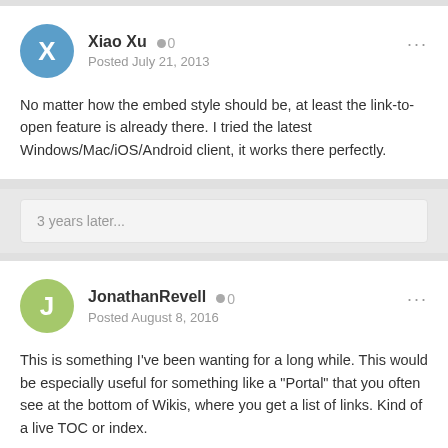Xiao Xu  0
Posted July 21, 2013
No matter how the embed style should be, at least the link-to-open feature is already there. I tried the latest Windows/Mac/iOS/Android client, it works there perfectly.
3 years later...
JonathanRevell  0
Posted August 8, 2016
This is something I've been wanting for a long while. This would be especially useful for something like a "Portal" that you often see at the bottom of Wikis, where you get a list of links. Kind of a live TOC or index.
As with the above commenters though, I also want to embed other